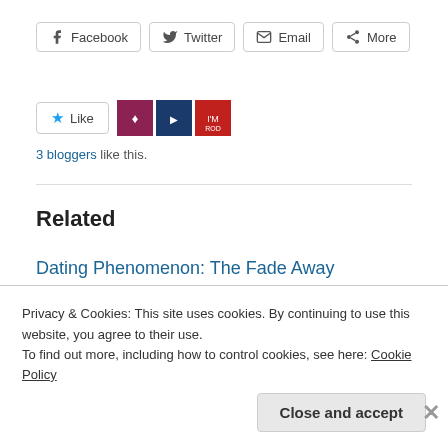[Figure (screenshot): Share buttons row: Facebook, Twitter, Email, More]
[Figure (screenshot): Like button with star icon and three blogger avatar thumbnails]
3 bloggers like this.
Related
Dating Phenomenon: The Fade Away
May 20, 2013
In "awkward moments"
Ask LSD: Should a guy pay on a first date?
Privacy & Cookies: This site uses cookies. By continuing to use this website, you agree to their use.
To find out more, including how to control cookies, see here: Cookie Policy
Close and accept